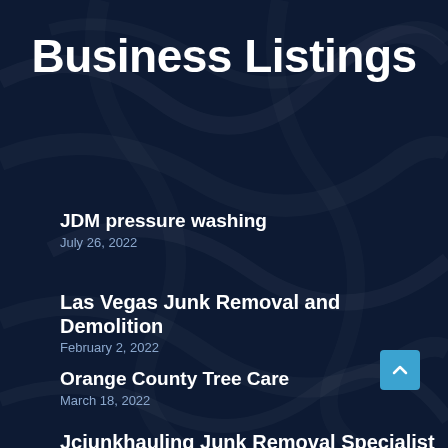Business Listings
JDM pressure washing
July 26, 2022
Las Vegas Junk Removal and Demolition
February 2, 2022
Orange County Tree Care
March 18, 2022
Jcjunkhauling Junk Removal Specialist